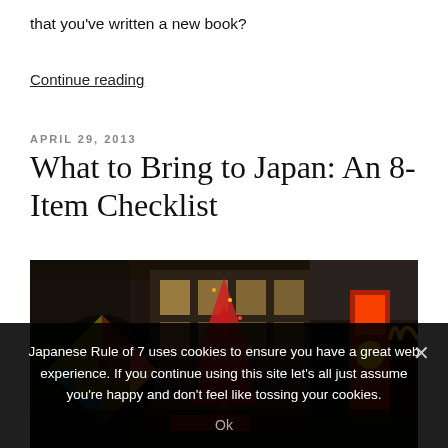that you've written a new book?
Continue reading
APRIL 29, 2013
What to Bring to Japan: An 8-Item Checklist
[Figure (photo): Night street scene in Japan with colorful illuminated signs and decorations, including a spinning disc sign with '551' and a tall red illuminated Christmas tree-like structure, storefronts with neon lighting.]
Japanese Rule of 7 uses cookies to ensure you have a great web experience. If you continue using this site let's all just assume you're happy and don't feel like tossing your cookies.
Ok